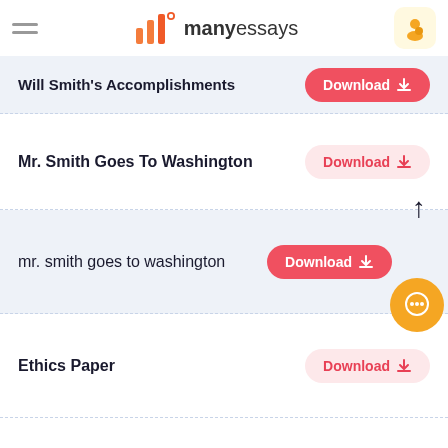manyessays
Will Smith's Accomplishments — Download
Mr. Smith Goes To Washington — Download
mr. smith goes to washington — Download
Ethics Paper — Download